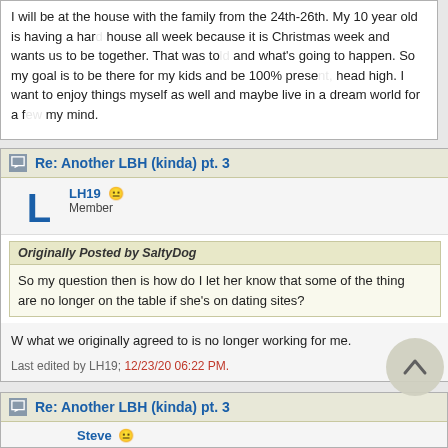I will be at the house with the family from the 24th-26th. My 10 year old is having a hard time... head high. I want to enjoy things myself as well and maybe live in a dream world for a few days to get things off my mind.
Re: Another LBH (kinda) pt. 3
LH19 Member
Originally Posted by SaltyDog
So my question then is how do I let her know that some of the things are no longer on the table if she's on dating sites?
W what we originally agreed to is no longer working for me.
Last edited by LH19; 12/23/20 06:22 PM.
Re: Another LBH (kinda) pt. 3
Steve